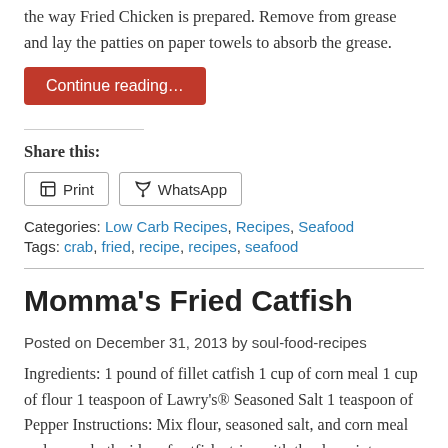the way Fried Chicken is prepared. Remove from grease and lay the patties on paper towels to absorb the grease.
Continue reading…
Share this:
Print   WhatsApp
Categories: Low Carb Recipes, Recipes, Seafood
Tags: crab, fried, recipe, recipes, seafood
Momma's Fried Catfish
Posted on December 31, 2013 by soul-food-recipes
Ingredients: 1 pound of fillet catfish 1 cup of corn meal 1 cup of flour 1 teaspoon of Lawry's® Seasoned Salt 1 teaspoon of Pepper Instructions: Mix flour, seasoned salt, and corn meal and cover both sides of catfish strips with the dry mixture. Then fry in about a teaspoon of oil in a pan, until both sides are golden brown and the fish is crispy.